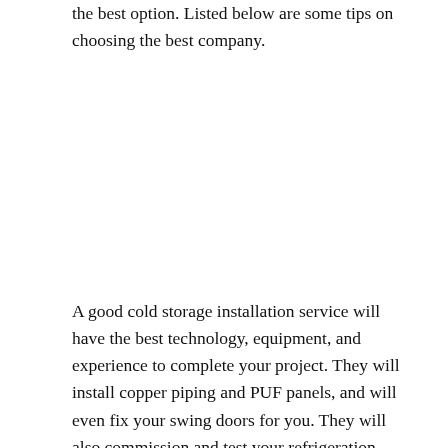the best option. Listed below are some tips on choosing the best company.
A good cold storage installation service will have the best technology, equipment, and experience to complete your project. They will install copper piping and PUF panels, and will even fix your swing doors for you. They will also commission and test your refrigeration units and other components. You can even opt for an ODU to IDU cabling. These